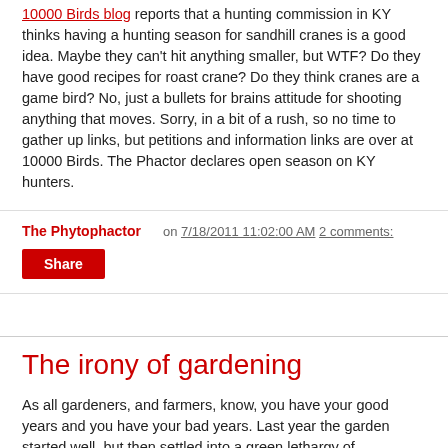The 10000 Birds blog reports that a hunting commission in KY thinks having a hunting season for sandhill cranes is a good idea. Maybe they can't hit anything smaller, but WTF? Do they have good recipes for roast crane? Do they think cranes are a game bird? No, just a bullets for brains attitude for shooting anything that moves. Sorry, in a bit of a rush, so no time to gather up links, but petitions and information links are over at 10000 Birds. The Phactor declares open season on KY hunters.
The Phytophactor   on 7/18/2011 11:02:00 AM 2 comments:
Share
The irony of gardening
As all gardeners, and farmers, know, you have your good years and you have your bad years. Last year the garden started well, but then settled into a green lethargy of mediocrity. This year didn't start well for the summer garden, but now just as it's finally kicking into high gear, something to